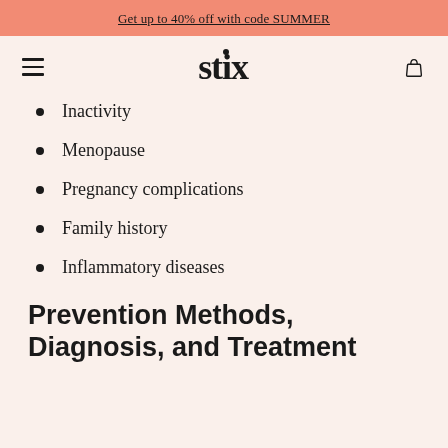Get up to 40% off with code SUMMER
[Figure (logo): Stix brand logo with hamburger menu and bag icon]
Inactivity
Menopause
Pregnancy complications
Family history
Inflammatory diseases
Prevention Methods, Diagnosis, and Treatment